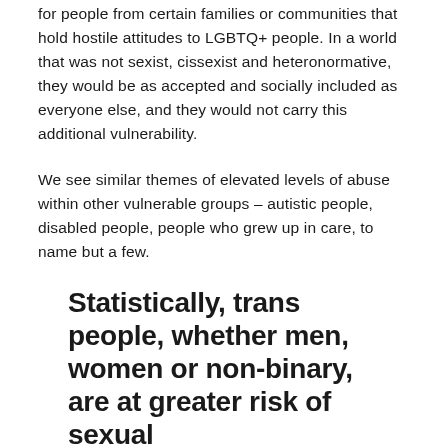for people from certain families or communities that hold hostile attitudes to LGBTQ+ people. In a world that was not sexist, cissexist and heteronormative, they would be as accepted and socially included as everyone else, and they would not carry this additional vulnerability.
We see similar themes of elevated levels of abuse within other vulnerable groups – autistic people, disabled people, people who grew up in care, to name but a few.
Statistically, trans people, whether men, women or non-binary, are at greater risk of sexual